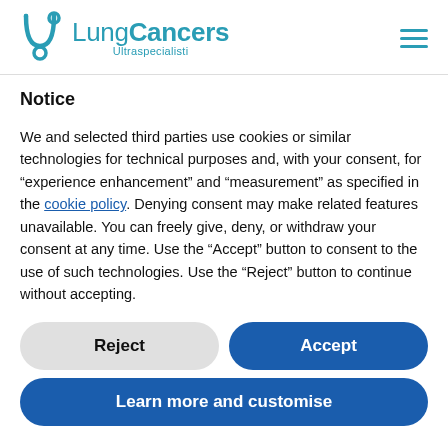[Figure (logo): LungCancers Ultraspecialisti logo with stylized U-shape stethoscope icon in teal and text 'LungCancers Ultraspecialisti' in teal]
Notice
We and selected third parties use cookies or similar technologies for technical purposes and, with your consent, for “experience enhancement” and “measurement” as specified in the cookie policy. Denying consent may make related features unavailable. You can freely give, deny, or withdraw your consent at any time. Use the “Accept” button to consent to the use of such technologies. Use the “Reject” button to continue without accepting.
Reject
Accept
Learn more and customise